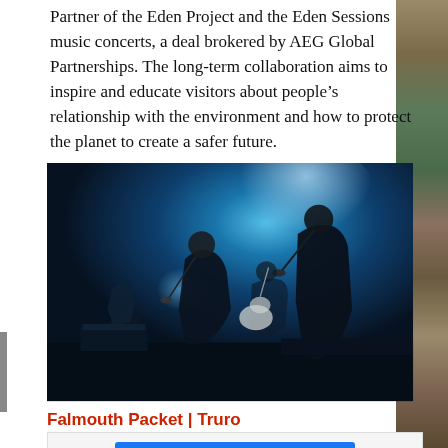Partner of the Eden Project and the Eden Sessions music concerts, a deal brokered by AEG Global Partnerships. The long-term collaboration aims to inspire and educate visitors about people's relationship with the environment and how to protect the planet to create a safer future.
[Figure (photo): Concert photo with blue stage lighting showing musicians performing, including singers at microphones and a guitarist]
Falmouth Packet | Truro
[Figure (screenshot): Facebook Share button in blue]